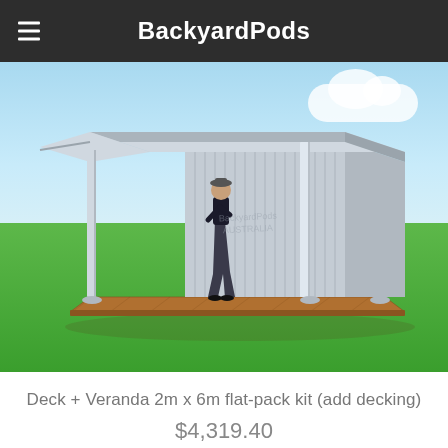BackyardPods
[Figure (illustration): 3D rendering of a backyard pod/shed with a flat roof and corrugated grey metal walls, featuring a timber deck and veranda with a white post in front, a person standing on the deck, set on green grass with a blue sky in the background. BackyardPods watermark visible on the structure.]
Deck + Veranda 2m x 6m flat-pack kit (add decking)
$4,319.40